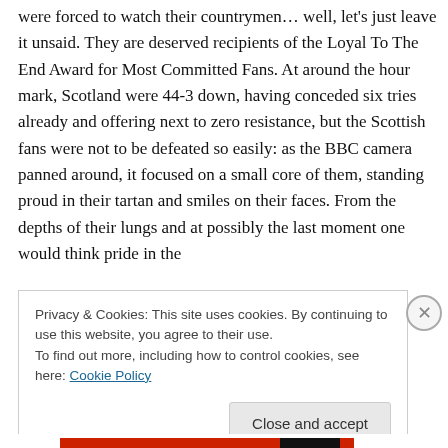were forced to watch their countrymen… well, let's just leave it unsaid. They are deserved recipients of the Loyal To The End Award for Most Committed Fans. At around the hour mark, Scotland were 44-3 down, having conceded six tries already and offering next to zero resistance, but the Scottish fans were not to be defeated so easily: as the BBC camera panned around, it focused on a small core of them, standing proud in their tartan and smiles on their faces. From the depths of their lungs and at possibly the last moment one would think pride in the
Privacy & Cookies: This site uses cookies. By continuing to use this website, you agree to their use.
To find out more, including how to control cookies, see here: Cookie Policy
Close and accept